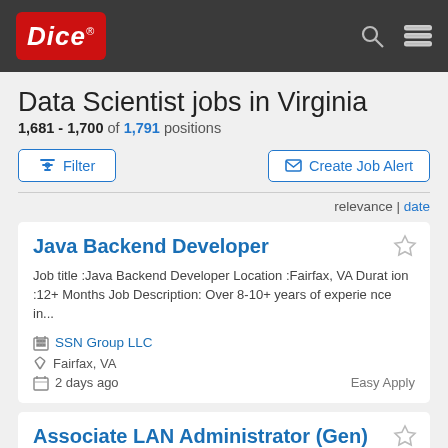Dice
Data Scientist jobs in Virginia
1,681 - 1,700 of 1,791 positions
Filter
Create Job Alert
relevance | date
Java Backend Developer
Job title :Java Backend Developer Location :Fairfax, VA Duration :12+ Months Job Description: Over 8-10+ years of experience in...
SSN Group LLC
Fairfax, VA
2 days ago
Easy Apply
Associate LAN Administrator (Gen)